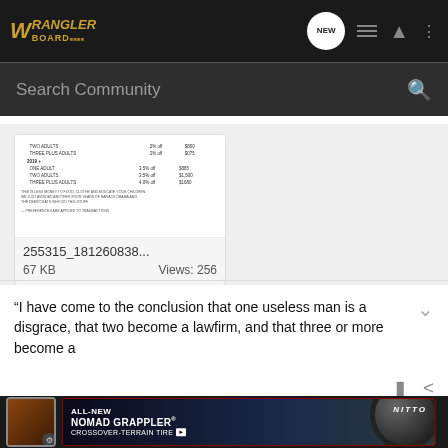Wrangler Board (navigation bar with logo, NEW chat icon, list icon, user icon, more icon)
Search Community
[Figure (screenshot): Thumbnail of a document showing a table with rows for TWO ADULTS, THREE PLUS ADULTS, 2019+, ONE ADULT, TWO ADULTS, THREE PLUS ADULTS with discount percentages and dollar amounts]
255315_181260838...
67 KB    Views: 256
“I have come to the conclusion that one useless man is a disgrace, that two become a lawfirm, and that three or more become a
[Figure (screenshot): Advertisement banner for Nitto ALL-NEW NOMAD GRAPPLER CROSSOVER-TERRAIN TIRE with tire image and dark background]